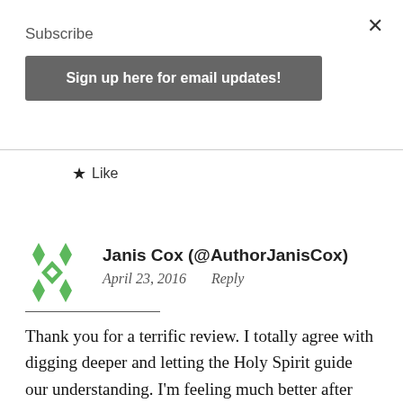×
Subscribe
Sign up here for email updates!
★ Like
Janis Cox (@AuthorJanisCox)
April 23, 2016   Reply
Thank you for a terrific review. I totally agree with digging deeper and letting the Holy Spirit guide our understanding. I'm feeling much better after deciding not to follow that quick study of some NT books. Whew. Slow down…